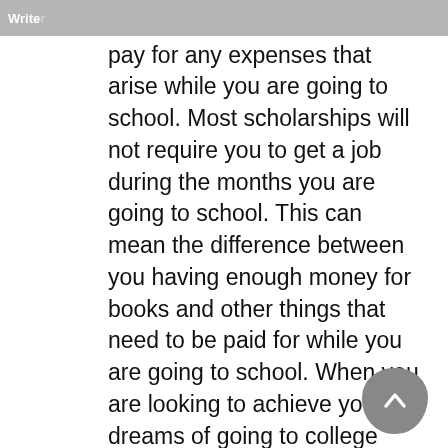Writer
do so. It will also help you to pay for any expenses that arise while you are going to school. Most scholarships will not require you to get a job during the months you are going to school. This can mean the difference between you having enough money for books and other things that need to be paid for while you are going to school. When you are looking to achieve your dreams of going to college and getting your degree, consider looking into a scholarship program. There are many available for you to choose from. You should check out all the options available to you so you know which one will best suit your needs for getting a degree and a new career. There is no doubt that a scholarship will make a difference in your life.